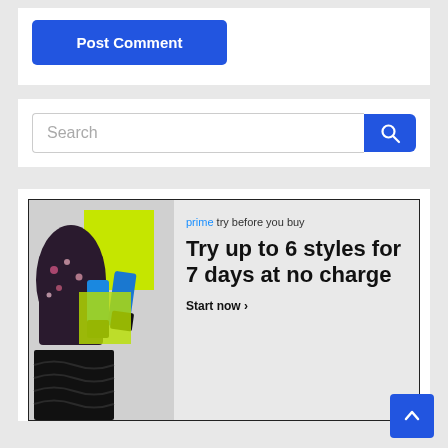[Figure (screenshot): Blue 'Post Comment' button on white background]
[Figure (screenshot): Search bar with blue search icon button]
[Figure (photo): Amazon Prime 'Try before you buy' advertisement showing clothing and shoes with text: 'Try up to 6 styles for 7 days at no charge. Start now.']